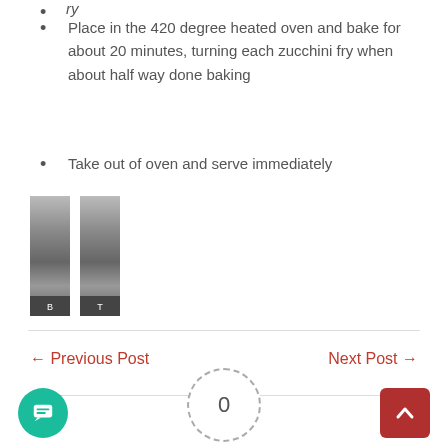ry
Place in the 420 degree heated oven and bake for about 20 minutes, turning each zucchini fry when about half way done baking
Take out of oven and serve immediately
[Figure (photo): Two vertical image strips showing food photos, partially cropped]
← Previous Post
Next Post →
0